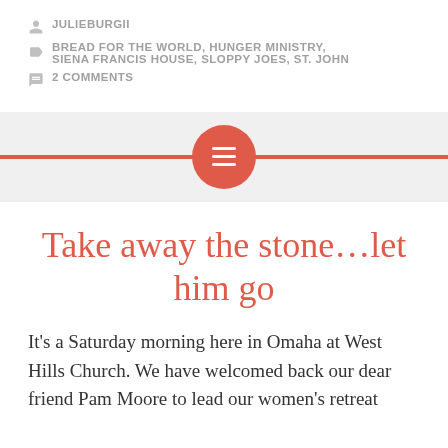JULIEBURGII
BREAD FOR THE WORLD, HUNGER MINISTRY, SIENA FRANCIS HOUSE, SLOPPY JOES, ST. JOHN
2 COMMENTS
[Figure (other): Decorative divider with red horizontal line and red circle containing a menu/list icon]
Take away the stone…let him go
It's a Saturday morning here in Omaha at West Hills Church. We have welcomed back our dear friend Pam Moore to lead our women's retreat